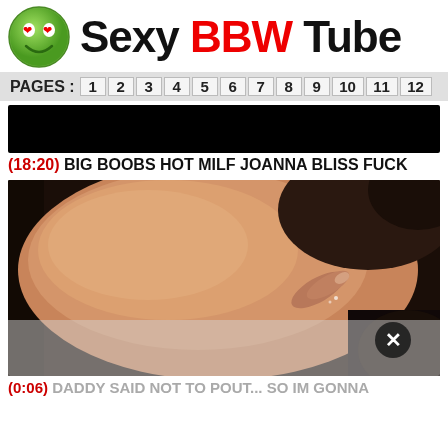Sexy BBW Tube
PAGES : 1 2 3 4 5 6 7 8 9 10 11 12
[Figure (photo): Black rectangle video thumbnail placeholder]
(18:20) BIG BOOBS HOT MILF JOANNA BLISS FUCK
[Figure (photo): Close-up skin photo thumbnail with X close button and semi-transparent ad overlay]
(0:06) DADDY SAID NOT TO POUT... SO IM GONNA